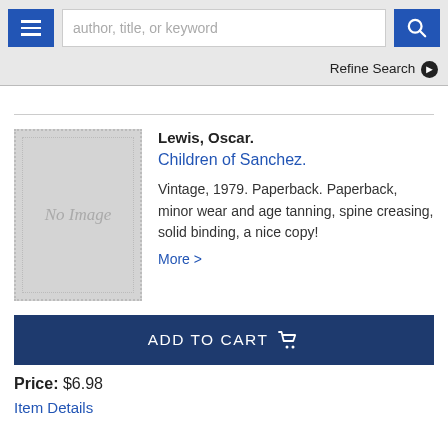author, title, or keyword — search bar with hamburger menu and search button
Refine Search
[Figure (illustration): No Image placeholder for book cover — grey rectangle with dotted border]
Lewis, Oscar.
Children of Sanchez.
Vintage, 1979. Paperback. Paperback, minor wear and age tanning, spine creasing, solid binding, a nice copy! More >
ADD TO CART
Price: $6.98
Item Details